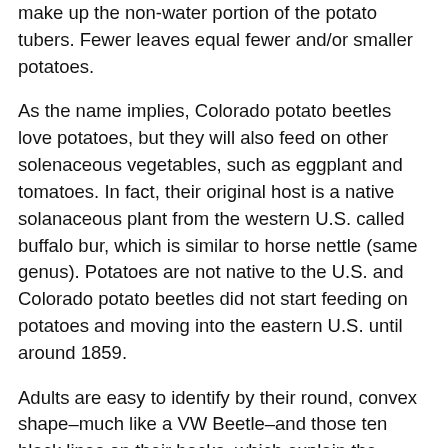make up the non-water portion of the potato tubers. Fewer leaves equal fewer and/or smaller potatoes.
As the name implies, Colorado potato beetles love potatoes, but they will also feed on other solenaceous vegetables, such as eggplant and tomatoes. In fact, their original host is a native solanaceous plant from the western U.S. called buffalo bur, which is similar to horse nettle (same genus). Potatoes are not native to the U.S. and Colorado potato beetles did not start feeding on potatoes and moving into the eastern U.S. until around 1859.
Adults are easy to identify by their round, convex shape–much like a VW Beetle–and those ten black lines on their backs, which explain the “decimlineata” part of their scientific name. The larvae are also distinctive—fat and red with two rows of black spots along each side. The